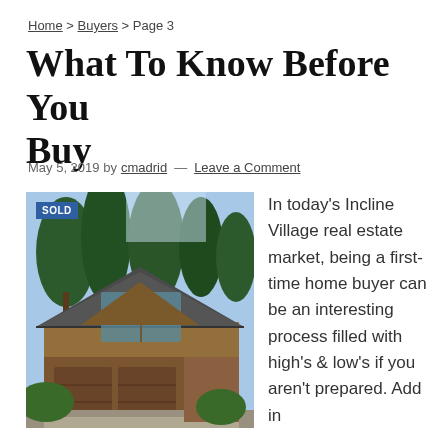Home > Buyers > Page 3
What To Know Before You Buy
May 5, 2019 by cmadrid — Leave a Comment
[Figure (photo): A large mountain-style wooden home with tall pine trees in the background, featuring a two-car garage and large windows. A blue 'SOLD' badge is visible in the top-left corner.]
In today's Incline Village real estate market, being a first-time home buyer can be an interesting process filled with high's & low's if you aren't prepared. Add in